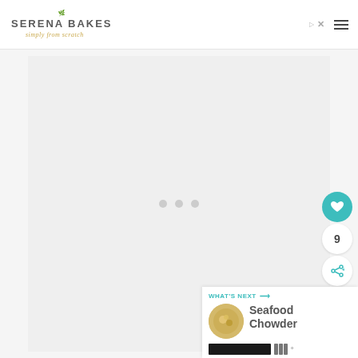Serena Bakes Simply From Scratch
[Figure (screenshot): Loading placeholder with three grey dots in a light grey rectangular area]
[Figure (infographic): Side panel with teal heart button, count of 9, and share icon]
[Figure (infographic): What's Next card showing Seafood Chowder with thumbnail, teal label with arrow, and footer bar]